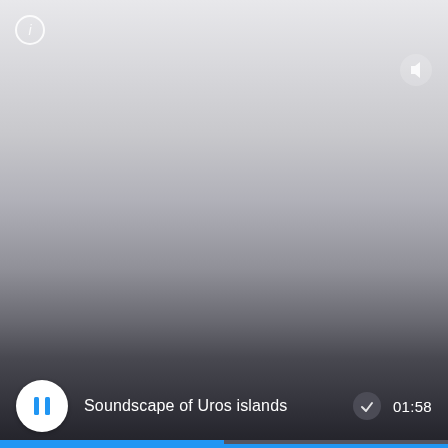[Figure (screenshot): Media player interface showing a video/audio player with gradient background from light gray at top to dark gray/black at bottom. Info button (circle with i) in top-left corner. Volume/speaker button in top-right area. Bottom control bar with pause button, track title 'Soundscape of Uros islands', download icon, time display '01:58', and a progress bar roughly half complete in blue.]